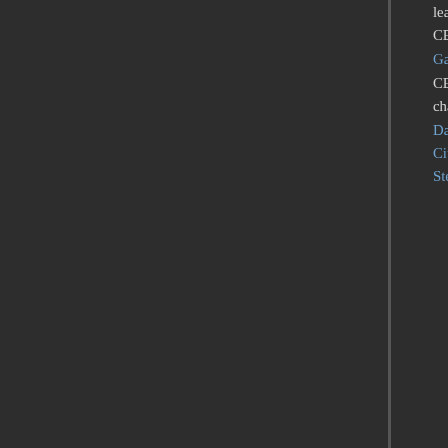leaving IBM. In business, former IBM employees include Apple Inc. CEO Tim Cook,[181] former EDS CEO and politician Ross Perot, Microsoft chairman John W. Thompson, SAP co-founder Hasso Plattner, Gartner founder Gideon Gartner, Advanced Micro Devices (AMD) CEO Lisa Su,[182] Cadence (CDNS) CEO Anirudh Devgan,[183] former Citizens Financial Group CEO Ellen Alemany, former Yahoo! chairman Alfred Amoroso, former AT&T CEO C. Michael Armstrong, former Xerox Corporation CEOs David T. Kearns and G. Richard Thoman,[184] former Fair Isaac Corporation CEO Mark N. Greene,[185] Citrix Systems co-founder Ed Iacobucci, ASOS.com chairman Brian McBride, former Lenovo CEO Steve Ward, and former Teradata CEO Kenneth Simonds.